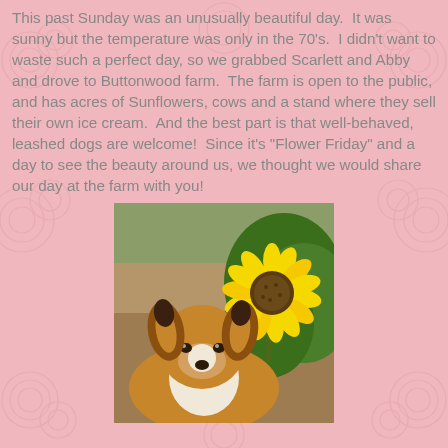This past Sunday was an unusually beautiful day.  It was sunny but the temperature was only in the 70's.  I didn't want to waste such a perfect day, so we grabbed Scarlett and Abby and drove to Buttonwood farm.  The farm is open to the public, and has acres of Sunflowers, cows and a stand where they sell their own ice cream.  And the best part is that well-behaved, leashed dogs are welcome!  Since it's "Flower Friday" and a day to see the beauty around us, we thought we would share our day at the farm with you!
[Figure (photo): A Collie dog in the foreground looking at the camera, with a large yellow sunflower bloom on the right side, set against a dirt path and green foliage background at Buttonwood farm.]